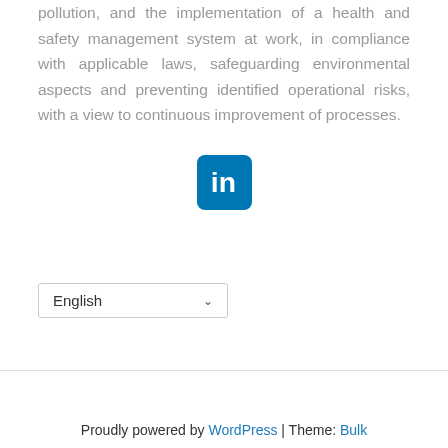pollution, and the implementation of a health and safety management system at work, in compliance with applicable laws, safeguarding environmental aspects and preventing identified operational risks, with a view to continuous improvement of processes.
[Figure (logo): LinkedIn logo icon — white 'in' on blue rounded square background]
English (dropdown language selector)
Proudly powered by WordPress | Theme: Bulk